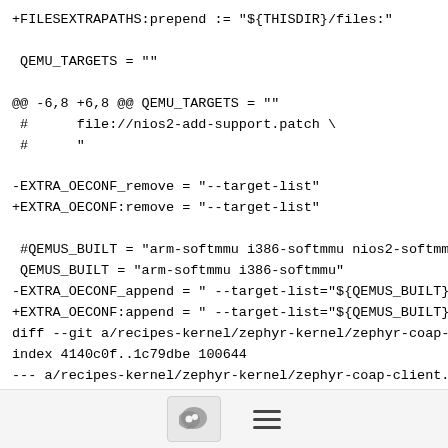+FILESEXTRAPATHS:prepend := "${THISDIR}/files:"

 QEMU_TARGETS = ""

@@ -6,8 +6,8 @@ QEMU_TARGETS = ""
 #      file://nios2-add-support.patch \
 #      "

-EXTRA_OECONF_remove = "--target-list"
+EXTRA_OECONF:remove = "--target-list"

 #QEMUS_BUILT = "arm-softmmu i386-softmmu nios2-softmmu"
 QEMUS_BUILT = "arm-softmmu i386-softmmu"
-EXTRA_OECONF_append = " --target-list="${QEMUS_BUILT}""
+EXTRA_OECONF:append = " --target-list="${QEMUS_BUILT}""
diff --git a/recipes-kernel/zephyr-kernel/zephyr-coap-client.bb b/recipes-kernel/zephyr-kernel/zephyr-coap-client.bb
index 4140c0f..1c79dbe 100644
--- a/recipes-kernel/zephyr-kernel/zephyr-coap-client.bb
[Figure (other): Footer bar with comment bubble icon button and hamburger menu icon]